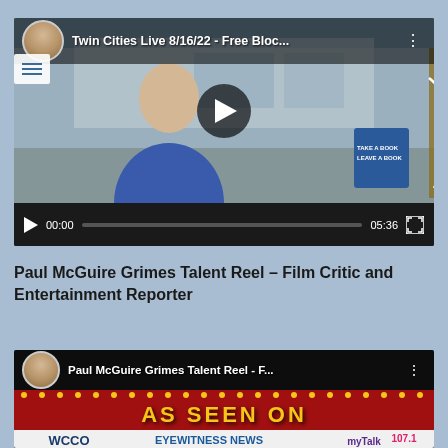[Figure (screenshot): YouTube video thumbnail showing a man in a blue t-shirt outdoors, with a play button overlay. Video title: 'Twin Cities Live 8/16/22 - Free Bloc...' Duration: 05:36. Video controls bar visible at bottom.]
Paul McGuire Grimes Talent Reel – Film Critic and Entertainment Reporter
[Figure (screenshot): YouTube video thumbnail showing 'AS SEEN ON' text in gold on red background with marquee-style dots, and logos for WCCO, 5 Eyewitness News, and myTalk 107.1 at bottom. Video title: 'Paul McGuire Grimes Talent Reel - F...']